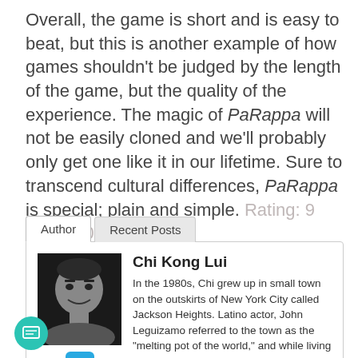Overall, the game is short and is easy to beat, but this is another example of how games shouldn't be judged by the length of the game, but the quality of the experience. The magic of PaRappa will not be easily cloned and we'll probably only get one like it in our lifetime. Sure to transcend cultural differences, PaRappa is special; plain and simple. Rating: 9 out of 10
Chi Kong Lui
In the 1980s, Chi grew up in small town on the outskirts of New York City called Jackson Heights. Latino actor, John Leguizamo referred to the town as the "melting pot of the world," and while living there, Chi was exposed to many diverse cultures, as well as a bevy of arcade classics such as Pac-Man, Space Ace, Space Harrier and Double Dragon. Chi's love of